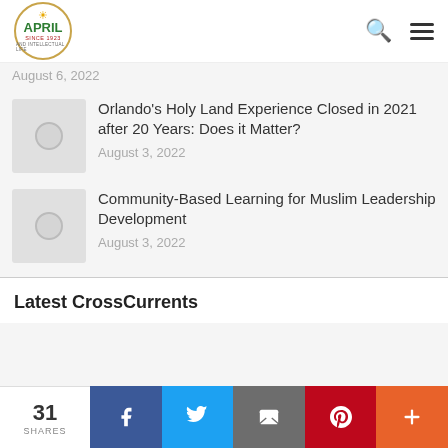APRIL logo — Association for Public Religion and Intellectual Life, Since 1923
August 6, 2022
Orlando's Holy Land Experience Closed in 2021 after 20 Years: Does it Matter?  —  August 3, 2022
Community-Based Learning for Muslim Leadership Development  —  August 3, 2022
Latest CrossCurrents
31 SHARES | Facebook | Twitter | Email | Pinterest | More